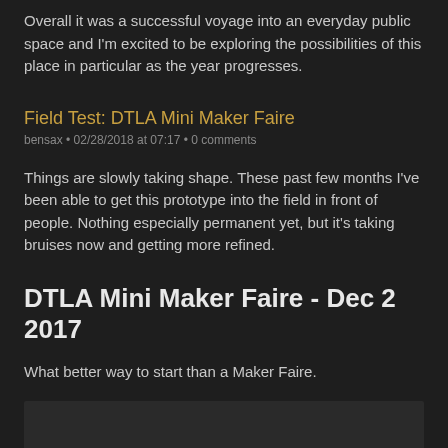Overall it was a successful voyage into an everyday public space and I'm excited to be exploring the possibilities of this place in particular as the year progresses.
Field Test: DTLA Mini Maker Faire
bensax • 02/28/2018 at 07:17 • 0 comments
Things are slowly taking shape. These past few months I've been able to get this prototype into the field in front of people. Nothing especially permanent yet, but it's taking bruises now and getting more refined.
DTLA Mini Maker Faire - Dec 2 2017
What better way to start than a Maker Faire.
[Figure (photo): Dark placeholder image area at bottom of page]